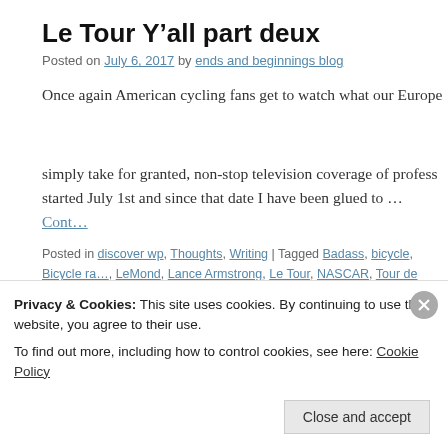Le Tour Y’all part deux
Posted on July 6, 2017 by ends and beginnings blog
Once again American cycling fans get to watch what our European counterparts simply take for granted, non-stop television coverage of professional cycling. It started July 1st and since that date I have been glued to … Cont…
Posted in discover wp, Thoughts, Writing | Tagged Badass, bicycle, Bicycle ra…, LeMond, Lance Armstrong, Le Tour, NASCAR, Tour de France | 8 Comments
Watching Trump race in circles
Posted on May 30, 2017 by ends and beginnings blog
Privacy & Cookies: This site uses cookies. By continuing to use this website, you agree to their use.
To find out more, including how to control cookies, see here: Cookie Policy
Close and accept